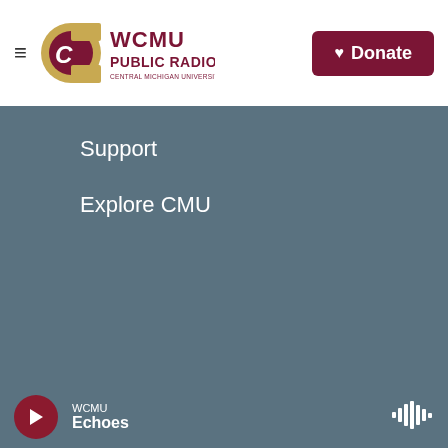[Figure (logo): WCMU Public Radio logo with Central Michigan University flying C]
[Figure (logo): Donate button with heart icon]
Support
Explore CMU
[Figure (logo): NPR logo]
[Figure (logo): PRI logo]
[Figure (logo): American Public Media logo]
[Figure (logo): WCMU Public Radio logo small]
[Figure (logo): PRX logo]
[Figure (logo): Protect Public Media logo]
[Figure (logo): CMU Central Michigan University logo]
WCMU
Echoes